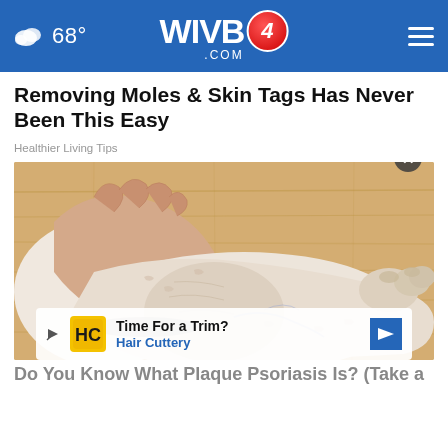68° WIVB4.COM
Removing Moles & Skin Tags Has Never Been This Easy
Healthier Living Tips
[Figure (photo): Close-up photo of a person's hands holding/touching their ankle and foot, shown against a wooden floor background. The foot shows signs of dry or irritated skin.]
Time For a Trim? Hair Cuttery
Do You Know What Plaque Psoriasis Is? (Take a